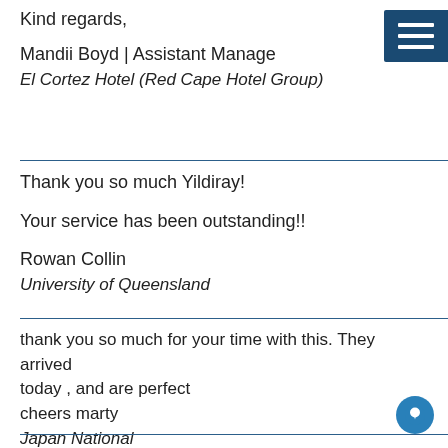Kind regards,
Mandii Boyd | Assistant Manage
El Cortez Hotel (Red Cape Hotel Group)
Thank you so much Yildiray!
Your service has been outstanding!!
Rowan Collin
University of Queensland
thank you so much for your time with this. They arrived today , and are perfect
cheers marty
Japan National